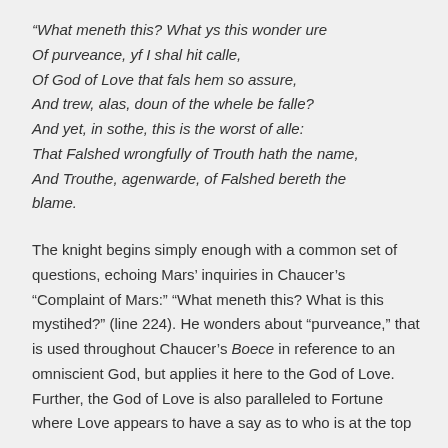“What meneth this? What ys this wonder ure Of purveance, yf I shal hit calle, Of God of Love that fals hem so assure, And trew, alas, doun of the whele be falle? And yet, in sothe, this is the worst of alle: That Falshed wrongfully of Trouth hath the name, And Trouthe, agenwarde, of Falshed bereth the blame.
The knight begins simply enough with a common set of questions, echoing Mars’ inquiries in Chaucer’s “Complaint of Mars:” “What meneth this? What is this mystihed?” (line 224). He wonders about “purveance,” that is used throughout Chaucer’s Boece in reference to an omniscient God, but applies it here to the God of Love. Further, the God of Love is also paralleled to Fortune where Love appears to have a say as to who is at the top